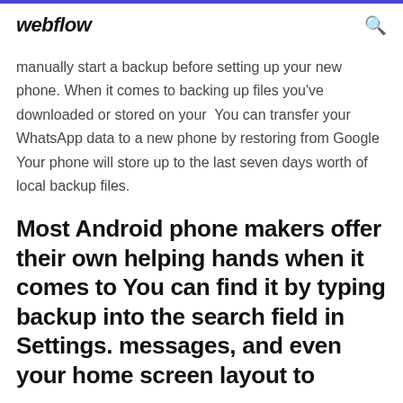webflow
manually start a backup before setting up your new phone. When it comes to backing up files you've downloaded or stored on your  You can transfer your WhatsApp data to a new phone by restoring from Google Your phone will store up to the last seven days worth of local backup files.
Most Android phone makers offer their own helping hands when it comes to You can find it by typing backup into the search field in Settings. messages, and even your home screen layout to